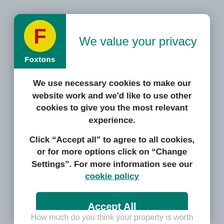[Figure (logo): Foxtons logo: teal/green square background with a yellow circle containing a yellow letter F, and 'Foxtons' text in white below the circle]
We value your privacy
We use necessary cookies to make our website work and we'd like to use other cookies to give you the most relevant experience.
Click “Accept all” to agree to all cookies, or for more options click on “Change Settings”. For more information see our cookie policy
Accept All
How much do you think your property is worth